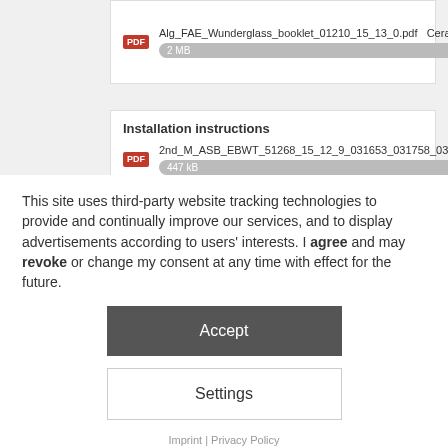Alg_FAE_Wunderglass_booklet_01210_15_13_0.pdf  Ceramic... 2 MB
Installation instructions
2nd_M_ASB_EBWT_51268_15_12_9_031653_031758_034760... 447 kB
This site uses third-party website tracking technologies to provide and continually improve our services, and to display advertisements according to users' interests. I agree and may revoke or change my consent at any time with effect for the future.
Accept
Settings
Imprint | Privacy Policy